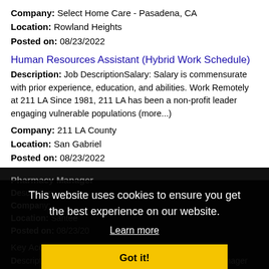Company: Select Home Care - Pasadena, CA
Location: Rowland Heights
Posted on: 08/23/2022
Human Resources Assistant (Hybrid Work Schedule)
Description: Job DescriptionSalary: Salary is commensurate with prior experience, education, and abilities. Work Remotely at 211 LA Since 1981, 211 LA has been a non-profit leader engaging vulnerable populations (more...)
Company: 211 LA County
Location: San Gabriel
Posted on: 08/23/2022
Pharmacy Manager
Description: ...
Company: ...
Location: Santee
Posted on: 08/23/20...
Key Account Manager
Description: We are actively looking for a Key Account Manager from the small parcel logistics/distribution industry. We are a great company to build your career with. Fun working environment and good benefits. This (more...)
This website uses cookies to ensure you get the best experience on our website.
Learn more
Got it!